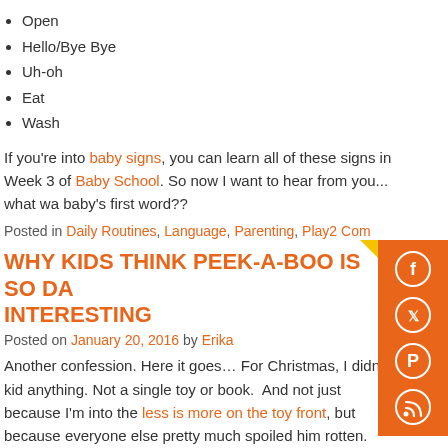Open
Hello/Bye Bye
Uh-oh
Eat
Wash
If you're into baby signs, you can learn all of these signs in Week 3 of Baby School. So now I want to hear from you... what wa baby's first word??
Posted in Daily Routines, Language, Parenting, Play2 Com
WHY KIDS THINK PEEK-A-BOO IS SO DA INTERESTING
Posted on January 20, 2016 by Erika
Another confession. Here it goes… For Christmas, I didn't kid anything. Not a single toy or book.  And not just because I'm into the less is more on the toy front, but because everyone else pretty much spoiled him rotten. Love my family and how much they